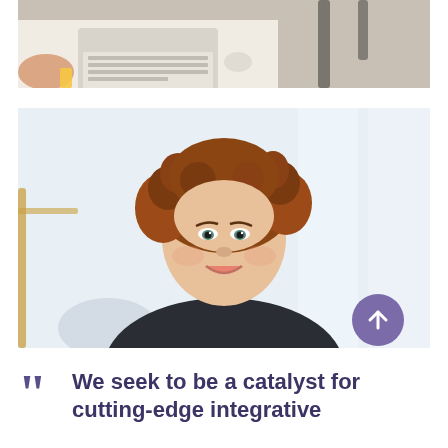[Figure (photo): Aerial/overhead view of a person working at a laptop on a white desk, with a mouse and chair visible. Warm lighting, light gray floor.]
[Figure (photo): Portrait photo of a woman with curly reddish-brown hair, smiling, wearing a dark turtleneck sweater. Bright modern interior background with blurred staircase railing.]
We seek to be a catalyst for cutting-edge integrative